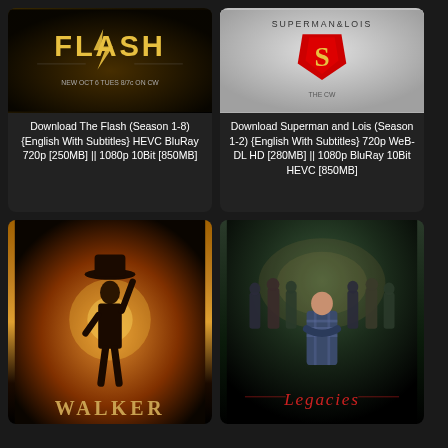[Figure (illustration): The Flash TV show promotional image with logo and CW network branding on dark background]
Download The Flash (Season 1-8) {English With Subtitles} HEVC BluRay 720p [250MB] || 1080p 10Bit [850MB]
[Figure (illustration): Superman and Lois TV show promotional image with Superman logo on grey background with text SUPERMAN & LOIS]
Download Superman and Lois (Season 1-2) {English With Subtitles} 720p WeB-DL HD [280MB] || 1080p BluRay 10Bit HEVC [850MB]
[Figure (illustration): Walker TV show promotional poster with cowboy silhouette against sunset and WALKER title text]
[Figure (illustration): Legacies TV show promotional poster with group of characters on stairs and LEGACIES title text]